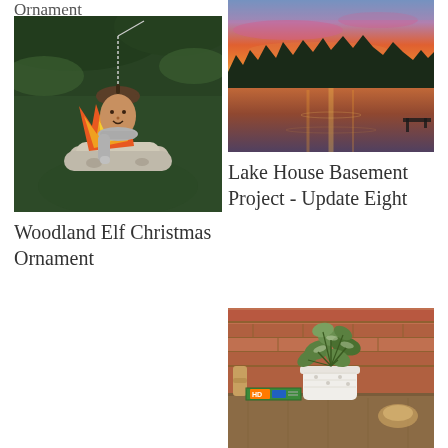Ornament
[Figure (photo): An acorn elf Christmas ornament with a grey scarf, sitting on a bundle of birch logs with felt flames in orange and red, hanging on a pine tree.]
Woodland Elf Christmas Ornament
[Figure (photo): A sunset over a lake with vivid pink and orange sky reflecting on the water, silhouetted treeline in the background.]
Lake House Basement Project - Update Eight
[Figure (photo): A decorative arrangement with a small white pot of green leafy plants, a patterned tile or book, set on a porch with brick wall in background.]